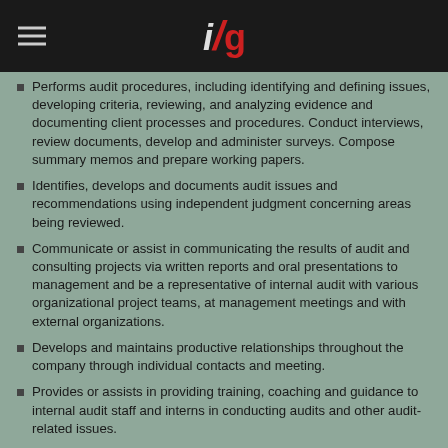IFG logo with hamburger menu
Performs audit procedures, including identifying and defining issues, developing criteria, reviewing, and analyzing evidence and documenting client processes and procedures. Conduct interviews, review documents, develop and administer surveys. Compose summary memos and prepare working papers.
Identifies, develops and documents audit issues and recommendations using independent judgment concerning areas being reviewed.
Communicate or assist in communicating the results of audit and consulting projects via written reports and oral presentations to management and be a representative of internal audit with various organizational project teams, at management meetings and with external organizations.
Develops and maintains productive relationships throughout the company through individual contacts and meeting.
Provides or assists in providing training, coaching and guidance to internal audit staff and interns in conducting audits and other audit-related issues.
Represent internal audit function on various organizational project teams.